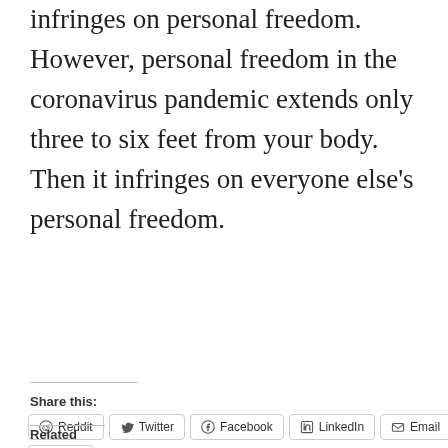infringes on personal freedom. However, personal freedom in the coronavirus pandemic extends only three to six feet from your body. Then it infringes on everyone else's personal freedom.
Share this:
[Figure (other): Social share buttons: Reddit, Twitter, Facebook, LinkedIn, Email, Print]
Related